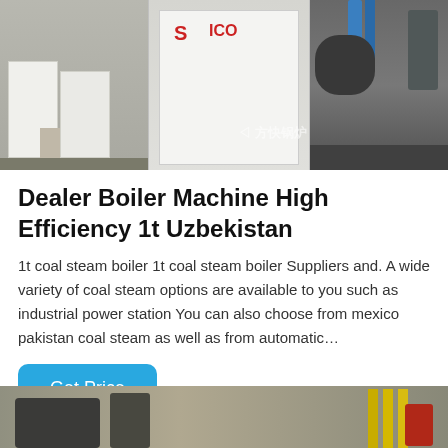[Figure (photo): Photograph of industrial boilers/heating equipment in a warehouse or factory setting. Three panels visible: left shows two white rectangular boiler units on a grey floor, center shows a white boiler unit with red Chinese safety symbols and a watermark with Chinese characters and a logo, right shows dark industrial equipment with a blue pipe.]
Dealer Boiler Machine High Efficiency 1t Uzbekistan
1t coal steam boiler 1t coal steam boiler Suppliers and. A wide variety of coal steam options are available to you such as industrial power station You can also choose from mexico pakistan coal steam as well as from automatic…
[Figure (photo): Partial photograph of industrial boiler room or factory floor showing yellow pipes, dark machinery, and equipment in a workshop environment.]